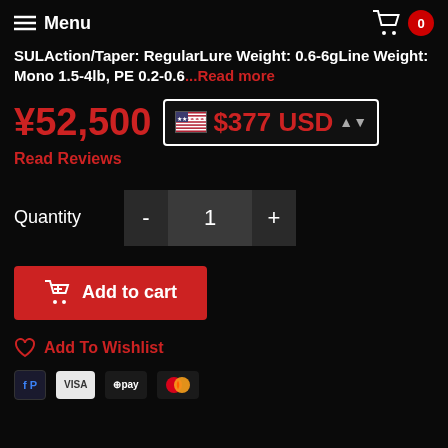Menu  0
SULAction/Taper: RegularLure Weight: 0.6-6gLine Weight: Mono 1.5-4lb, PE 0.2-0.6...Read more
¥52,500  $377 USD
Read Reviews
Quantity  - 1 +
Add to cart
Add To Wishlist